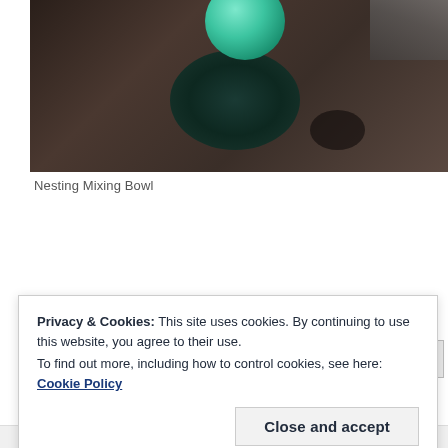[Figure (photo): Close-up photo of a green ball/balloon sitting inside or on top of a dark mixing bowl on a wet metallic surface. The bowl appears dark teal/green inside with the green ball resting in it. Various dark metal surfaces and edges visible in background.]
Nesting Mixing Bowl
Privacy & Cookies: This site uses cookies. By continuing to use this website, you agree to their use.
To find out more, including how to control cookies, see here: Cookie Policy
Close and accept